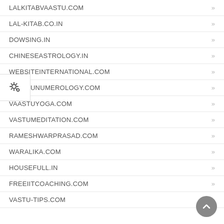LALKITABVAASTU.COM
LAL-KITAB.CO.IN
DOWSING.IN
CHINESEASTROLOGY.IN
WEBSITEINTERNATIONAL.COM
VAASTUNUMEROLOGY.COM
VAASTUYOGA.COM
VASTUMEDITATION.COM
RAMESHWARPRASAD.COM
WARALIKA.COM
HOUSEFULL.IN
FREEIITCOACHING.COM
VASTU-TIPS.COM